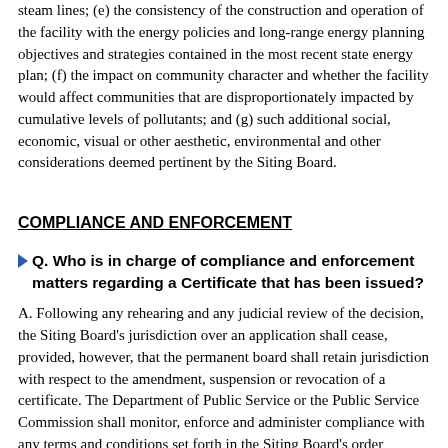steam lines; (e) the consistency of the construction and operation of the facility with the energy policies and long-range energy planning objectives and strategies contained in the most recent state energy plan; (f) the impact on community character and whether the facility would affect communities that are disproportionately impacted by cumulative levels of pollutants; and (g) such additional social, economic, visual or other aesthetic, environmental and other considerations deemed pertinent by the Siting Board.
COMPLIANCE AND ENFORCEMENT
Q. Who is in charge of compliance and enforcement matters regarding a Certificate that has been issued?
A. Following any rehearing and any judicial review of the decision, the Siting Board's jurisdiction over an application shall cease, provided, however, that the permanent board shall retain jurisdiction with respect to the amendment, suspension or revocation of a certificate. The Department of Public Service or the Public Service Commission shall monitor, enforce and administer compliance with any terms and conditions set forth in the Siting Board's order granting a certificate.